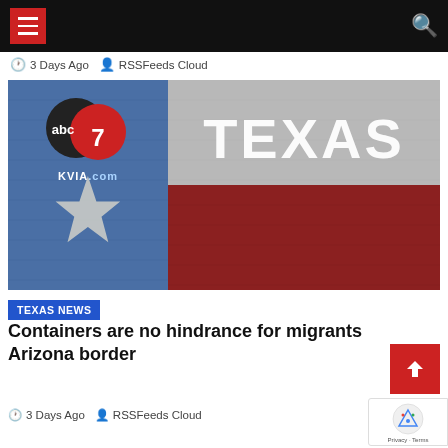Navigation bar with hamburger menu and search icon
🕐 3 Days Ago 👤 RSSFeeds Cloud
[Figure (photo): Texas flag mural on brick wall with abc7 KVIA.com logo overlay and TEXAS text]
TEXAS NEWS
Containers are no hindrance for migrants Arizona border
🕐 3 Days Ago 👤 RSSFeeds Cloud